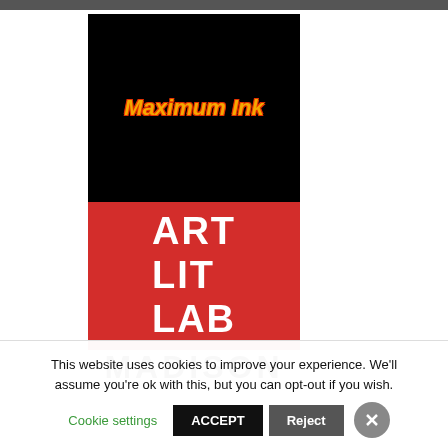[Figure (logo): Maximum Ink logo: black background with orange/red italic bold text reading 'Maximum Ink']
[Figure (logo): Art Lit Lab logo: red square background with white bold text reading 'ART LIT LAB' on three lines]
[Figure (logo): Partial logo showing bold black uppercase text 'MADISON' partially visible at bottom]
This website uses cookies to improve your experience. We'll assume you're ok with this, but you can opt-out if you wish.
Cookie settings
ACCEPT
Reject